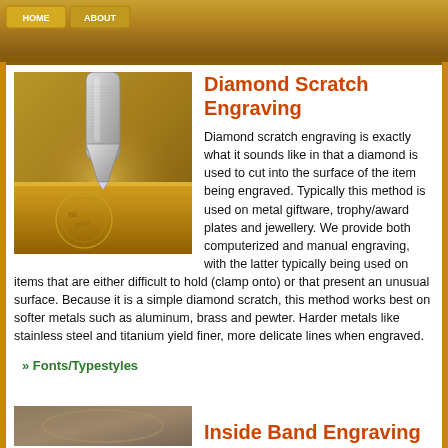[Figure (photo): Top banner with golden/brown textured background and tab buttons]
[Figure (photo): Close-up photo of a diamond engraving tool tip touching a metal surface with engraved text visible]
Diamond Scratch Engraving
Diamond scratch engraving is exactly what it sounds like in that a diamond is used to cut into the surface of the item being engraved. Typically this method is used on metal giftware, trophy/award plates and jewellery. We provide both computerized and manual engraving, with the latter typically being used on items that are either difficult to hold (clamp onto) or that present an unusual surface. Because it is a simple diamond scratch, this method works best on softer metals such as aluminum, brass and pewter. Harder metals like stainless steel and titanium yield finer, more delicate lines when engraved.
» Fonts/Typestyles
[Figure (photo): Partial image of inside band engraving tool or ring, brown/grey tones]
Inside Band Engraving